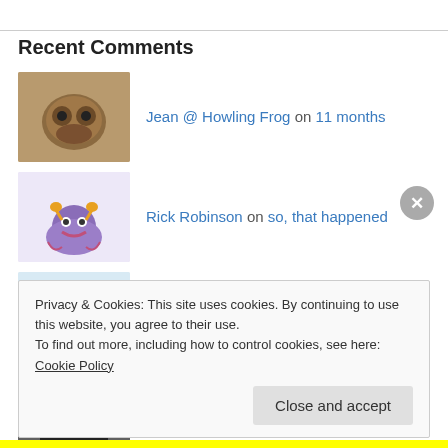Recent Comments
Jean @ Howling Frog on 11 months
Rick Robinson on so, that happened
bkfrgr on so, that happened
Alex Kourvo on so, that happened
Privacy & Cookies: This site uses cookies. By continuing to use this website, you agree to their use.
To find out more, including how to control cookies, see here: Cookie Policy
Close and accept